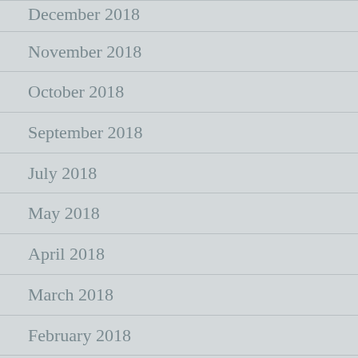December 2018
November 2018
October 2018
September 2018
July 2018
May 2018
April 2018
March 2018
February 2018
January 2018
December 2017